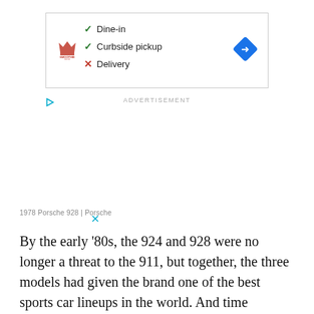[Figure (screenshot): Advertisement box showing Smoothie King logo with checkmarks for Dine-in and Curbside pickup (green), and X for Delivery (red), plus a blue navigation diamond icon on the right.]
ADVERTISEMENT
1978 Porsche 928 | Porsche
By the early '80s, the 924 and 928 were no longer a threat to the 911, but together, the three models had given the brand one of the best sports car lineups in the world. And time